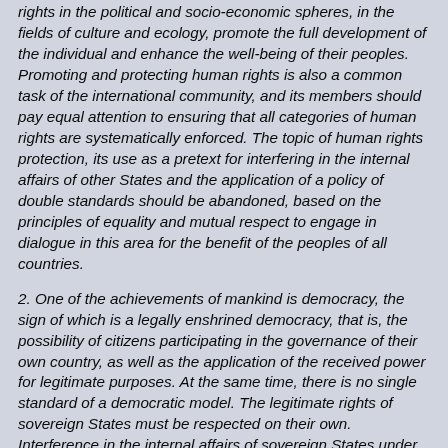rights in the political and socio-economic spheres, in the fields of culture and ecology, promote the full development of the individual and enhance the well-being of their peoples. Promoting and protecting human rights is also a common task of the international community, and its members should pay equal attention to ensuring that all categories of human rights are systematically enforced. The topic of human rights protection, its use as a pretext for interfering in the internal affairs of other States and the application of a policy of double standards should be abandoned, based on the principles of equality and mutual respect to engage in dialogue in this area for the benefit of the peoples of all countries.
2. One of the achievements of mankind is democracy, the sign of which is a legally enshrined democracy, that is, the possibility of citizens participating in the governance of their own country, as well as the application of the received power for legitimate purposes. At the same time, there is no single standard of a democratic model. The legitimate rights of sovereign States must be respected on their own. Interference in the internal affairs of sovereign States under the pretext of "promoting democracy" is unacceptable.
3. International law is an important condition for human development. Without exception, all States should make efforts to ensure that the system of international relations, in which the United Nations plays a central role, and the world order, which is formed in accordance with international law